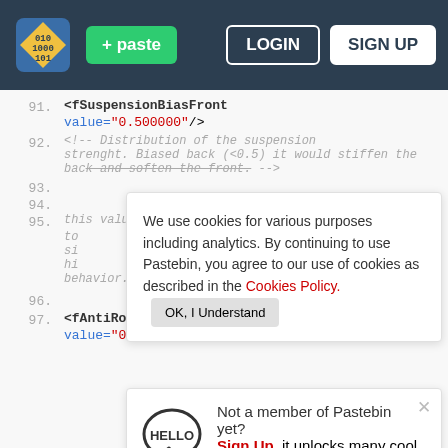[Figure (screenshot): Pastebin website header with logo, green paste button, LOGIN and SIGN UP buttons on dark navy background]
91.    <fSuspensionBiasFront
       value="0.500000"/>
92.    <!-- Distribution of the suspension strenght. Biased back (<0.5) it would stiffen the back and soften the front. -->
We use cookies for various purposes including analytics. By continuing to use Pastebin, you agree to our use of cookies as described in the Cookies Policy.   OK, I Understand
93. ... 94. ... 95. ... this value applies force to the compressed wheel to si hi behavior. -->
Not a member of Pastebin yet? Sign Up, it unlocks many cool features!
96.
97.    <fAntiRollBarBiasFront
       value="0.550000"/>